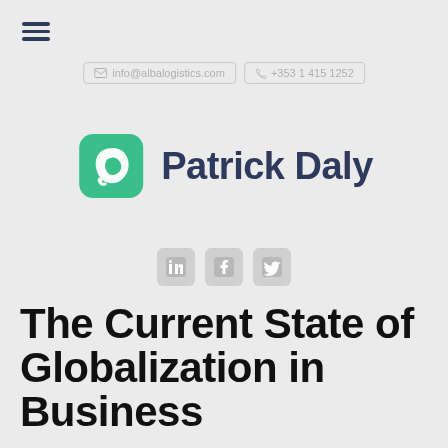[Figure (logo): Hamburger menu icon (three horizontal lines) in dark navy blue]
✉ info@albalogistics.com   ☎ +353 1 415 1252
[Figure (logo): Patrick Daly logo: green rounded leaf/shield icon beside the text 'Patrick Daly' in dark navy bold font]
[Figure (logo): Social media icons row: LinkedIn, Facebook, Twitter — light grey rounded square icons]
The Current State of Globalization in Business